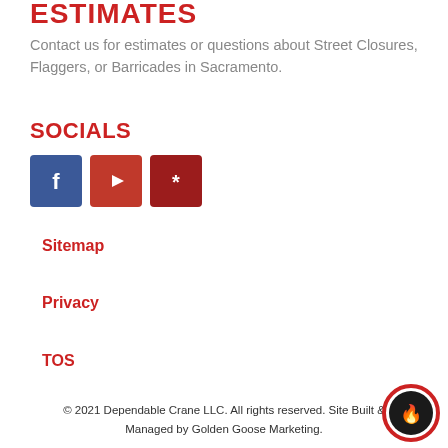ESTIMATES
Contact us for estimates or questions about Street Closures, Flaggers, or Barricades in Sacramento.
SOCIALS
[Figure (illustration): Three social media icons: Facebook (blue square with 'f'), YouTube (red square with play button), Yelp (dark red square with 'y' burst icon)]
Sitemap
Privacy
TOS
© 2021 Dependable Crane LLC. All rights reserved. Site Built & Managed by Golden Goose Marketing.